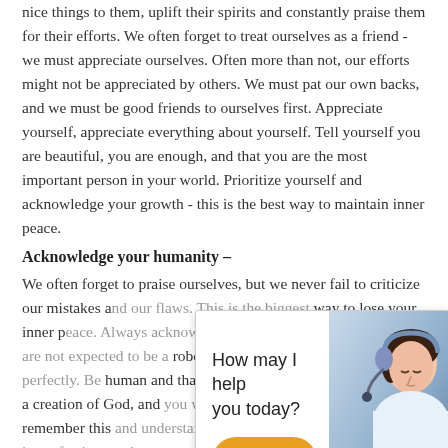nice things to them, uplift their spirits and constantly praise them for their efforts. We often forget to treat ourselves as a friend - we must appreciate ourselves. Often more than not, our efforts might not be appreciated by others. We must pat our own backs, and we must be good friends to ourselves first. Appreciate yourself, appreciate everything about yourself. Tell yourself you are beautiful, you are enough, and that you are the most important person in your world. Prioritize yourself and acknowledge your growth - this is the best way to maintain inner peace.
Acknowledge your humanity –
We often forget to praise ourselves, but we never fail to criticize our mistakes a... way to lose your inner p... you are human, and yo... robot designed to carr... human and that's wha... a creation of God, and... Always remember this ... are imperfect. Your litt... amazing human being,... embraces love. You we... because nobody was. Humanity is all about the...
[Figure (other): Chat widget overlay showing a customer service representative wearing a headset, with text 'How may I help you today?' and a 'Chat now' button in orange/yellow.]